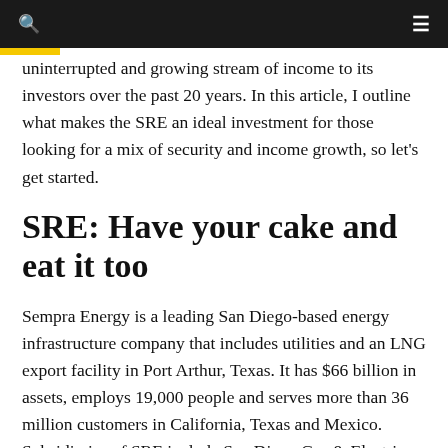uninterrupted and growing stream of income to its investors over the past 20 years. In this article, I outline what makes the SRE an ideal investment for those looking for a mix of security and income growth, so let's get started.
SRE: Have your cake and eat it too
Sempra Energy is a leading San Diego-based energy infrastructure company that includes utilities and an LNG export facility in Port Arthur, Texas. It has $66 billion in assets, employs 19,000 people and serves more than 36 million customers in California, Texas and Mexico. Subsidiaries of SRE include San Diego Gas & Electric, Southern California Gas Co. and Oncor Electric Delivery